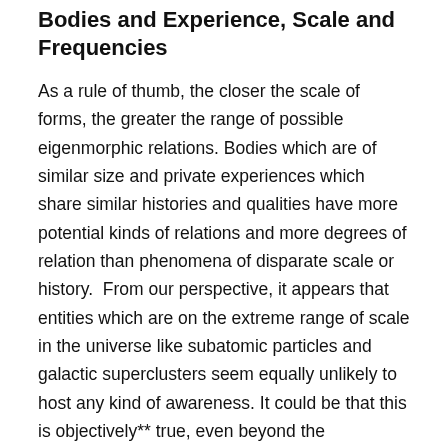Bodies and Experience, Scale and Frequencies
As a rule of thumb, the closer the scale of forms, the greater the range of possible eigenmorphic relations. Bodies which are of similar size and private experiences which share similar histories and qualities have more potential kinds of relations and more degrees of relation than phenomena of disparate scale or history.  From our perspective, it appears that entities which are on the extreme range of scale in the universe like subatomic particles and galactic superclusters seem equally unlikely to host any kind of awareness. It could be that this is objectively** true, even beyond the prejudiced relativity of our human scale eigenmorphism, but it is not clear that there can ever be a difference between human truth and objective truth as long as we are human. For us, even if stars are bits of the Gods as ancient astronomers